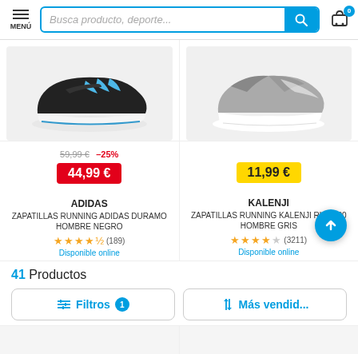MENÚ | Busca producto, deporte... | Cart icon
[Figure (screenshot): Black Adidas running shoe product image on light grey background]
59,99 € –25%
44,99 €
[Figure (screenshot): Grey Kalenji running shoe product image on light grey background]
11,99 €
ADIDAS
ZAPATILLAS RUNNING ADIDAS DURAMO HOMBRE NEGRO
★★★★½ (189)
Disponible online
KALENJI
ZAPATILLAS RUNNING KALENJI RUN 100 HOMBRE GRIS
★★★★½ (3211)
Disponible online
41 Productos
≡ Filtros 1
↑↓ Más vendid...